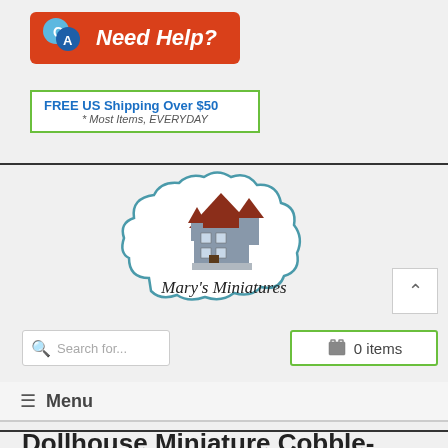[Figure (logo): Need Help? banner with Q and A speech bubbles on orange-red background]
[Figure (infographic): FREE US Shipping Over $50 banner with green border. * Most Items, EVERYDAY]
[Figure (logo): Mary's Miniatures cloud-shaped logo with Victorian house illustration]
[Figure (other): Search bar with magnifying glass icon and placeholder text 'Search for...']
[Figure (other): Shopping cart button showing '0 items' with green border]
≡ Menu
Dollhouse Miniature Cobble-Stone Road